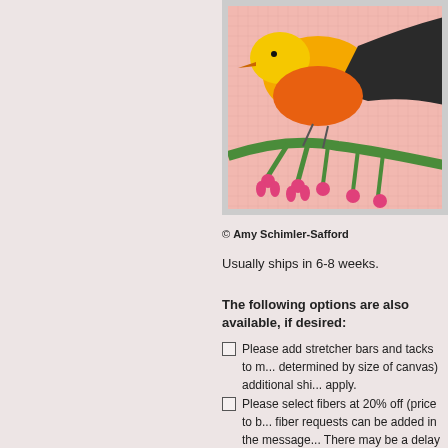[Figure (photo): Needlepoint canvas showing a yellow and orange bird on a green branch with pink flowers against a pink grid background. The bird has a dark wing/tail. Partial view, cropped on right side.]
© Amy Schimler-Safford
Usually ships in 6-8 weeks.
The following options are also available, if desired:
Please add stretcher bars and tacks to m... (determined by size of canvas) additional shi... apply.
Please select fibers at 20% off (price to b... fiber requests can be added in the message... There may be a delay in selecting fibers due... demand during COVID. Your patience is app...